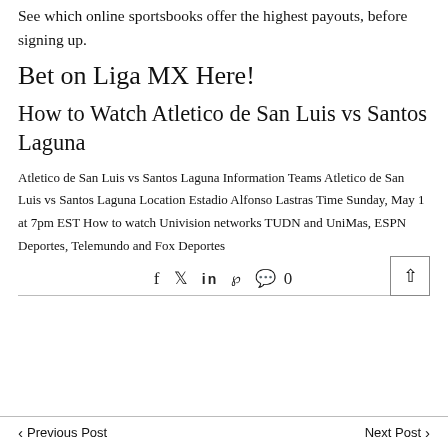See which online sportsbooks offer the highest payouts, before signing up.
Bet on Liga MX Here!
How to Watch Atletico de San Luis vs Santos Laguna
Atletico de San Luis vs Santos Laguna Information Teams Atletico de San Luis vs Santos Laguna Location Estadio Alfonso Lastras Time Sunday, May 1 at 7pm EST How to watch Univision networks TUDN and UniMas, ESPN Deportes, Telemundo and Fox Deportes
Social share icons with 0 comments
Previous Post   Next Post